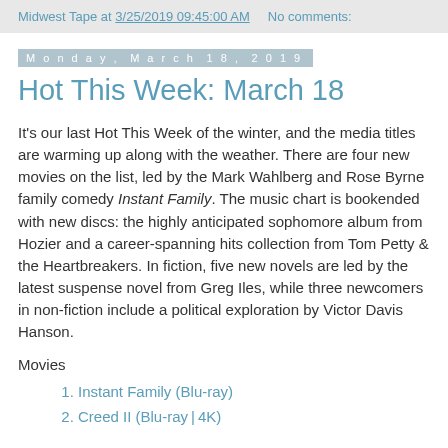Midwest Tape at 3/25/2019 09:45:00 AM   No comments:
Monday, March 18, 2019
Hot This Week: March 18
It's our last Hot This Week of the winter, and the media titles are warming up along with the weather. There are four new movies on the list, led by the Mark Wahlberg and Rose Byrne family comedy Instant Family. The music chart is bookended with new discs: the highly anticipated sophomore album from Hozier and a career-spanning hits collection from Tom Petty & the Heartbreakers. In fiction, five new novels are led by the latest suspense novel from Greg Iles, while three newcomers in non-fiction include a political exploration by Victor Davis Hanson.
Movies
Instant Family (Blu-ray)
Creed II (Blu-ray | 4K)